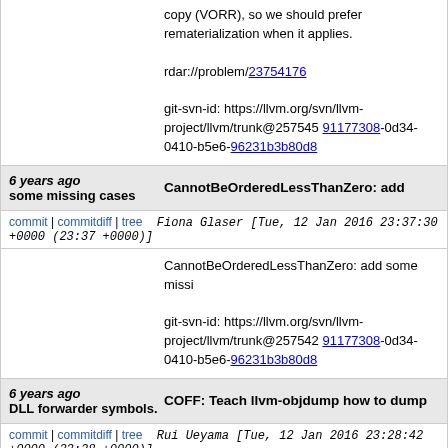copy (VORR), so we should prefer rematerialization when it applies.

rdar://problem/23754176

git-svn-id: https://llvm.org/svn/llvm-project/llvm/trunk@257545 91177308-0d34-0410-b5e6-96231b3b80d8
6 years ago   CannotBeOrderedLessThanZero: add some missing cases
commit | commitdiff | tree   Fiona Glaser [Tue, 12 Jan 2016 23:37:30 +0000 (23:37 +0000)]
CannotBeOrderedLessThanZero: add some missi

git-svn-id: https://llvm.org/svn/llvm-project/llvm/trunk@257542 91177308-0d34-0410-b5e6-96231b3b80d8
6 years ago   COFF: Teach llvm-objdump how to dump DLL forwarder symbols.
commit | commitdiff | tree   Rui Ueyama [Tue, 12 Jan 2016 23:28:42 +0000 (23:28 +0000)]
COFF: Teach llvm-objdump how to dump DLL forwarder symbols.